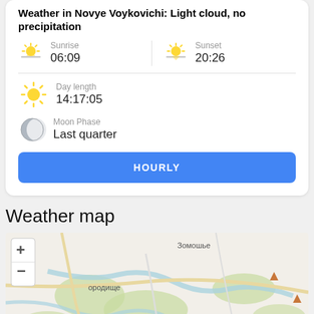Weather in Novye Voykovichi: Light cloud, no precipitation
Sunrise
06:09
Sunset
20:26
Day length
14:17:05
Moon Phase
Last quarter
HOURLY
Weather map
[Figure (map): OpenStreetMap showing the area around Novye Voykovichi with zoom in/out controls, showing Зомошье and ородище labels, roads, rivers and green areas.]